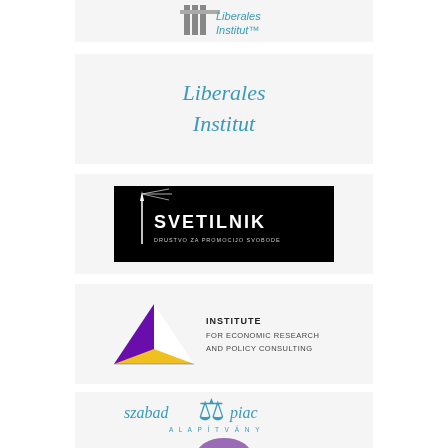[Figure (logo): Liberales Institut logo - partial view at top, building icon with 'Liberales Institut' text in teal/blue]
[Figure (logo): Liberales Institut logo - teal text reading 'Liberales Institut' on white background]
[Figure (logo): SVETILNIK logo - white text on black background with tagline 'DRUSTVO ZA PROMOCIJO SVOBODE']
[Figure (logo): Institute for Economic Research and Policy Consulting logo - purple/yellow triangle with text]
[Figure (logo): Szabad Piac Alapitvany logo - Statue of Liberty icon with blue text]
[Figure (logo): Partial logo at bottom - purple arch/dome shape, partially visible]